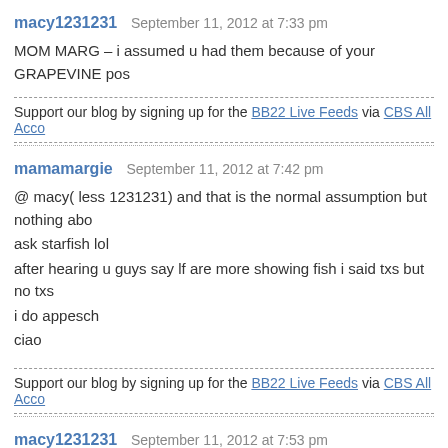macy1231231   September 11, 2012 at 7:33 pm
MOM MARG – i assumed u had them because of your GRAPEVINE pos
Support our blog by signing up for the BB22 Live Feeds via CBS All Acco
mamamargie   September 11, 2012 at 7:42 pm
@ macy( less 1231231) and that is the normal assumption but nothing abo ask starfish lol
after hearing u guys say lf are more showing fish i said txs but no txs
i do appesch
ciao
Support our blog by signing up for the BB22 Live Feeds via CBS All Acco
macy1231231   September 11, 2012 at 7:53 pm